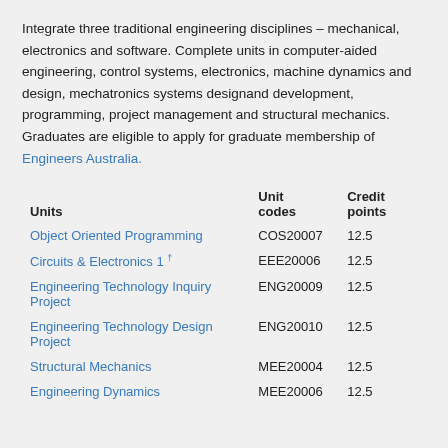Integrate three traditional engineering disciplines – mechanical, electronics and software. Complete units in computer-aided engineering, control systems, electronics, machine dynamics and design, mechatronics systems designand development, programming, project management and structural mechanics. Graduates are eligible to apply for graduate membership of Engineers Australia.
| Units | Unit codes | Credit points |
| --- | --- | --- |
| Object Oriented Programming | COS20007 | 12.5 |
| Circuits & Electronics 1 † | EEE20006 | 12.5 |
| Engineering Technology Inquiry Project | ENG20009 | 12.5 |
| Engineering Technology Design Project | ENG20010 | 12.5 |
| Structural Mechanics | MEE20004 | 12.5 |
| Engineering Dynamics | MEE20006 | 12.5 |